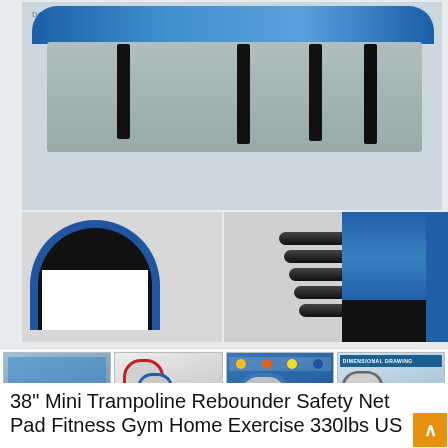[Figure (photo): Main product photo of a mini trampoline rebounder shown from above, displaying a blue padded edge and black legs on a gray mat background. Below are two additional detail photos: left showing the half-circle spring/mat assembly and right showing the blue padded edge close-up. A watermark reading 'DISCOUNT SHOP' is visible.]
[Figure (photo): Thumbnail gallery row showing four product images: (1) trampoline in room setting with component photos, (2) three trampolines in red, blue, black colors, (3) trampoline with safety/warning icons, (4) dimensional drawing with measurements.]
38" Mini Trampoline Rebounder Safety Net Pad Fitness Gym Home Exercise 330lbs US